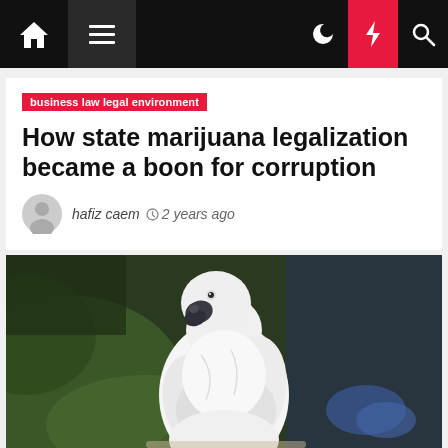Navigation bar with home, menu, dark mode, lightning, and search icons
business law legal environment
How state marijuana legalization became a boon for corruption
hafiz caem  2 years ago
[Figure (photo): White cockatoo bird perched, facing slightly left, with dark beak, against a blurred green and dark blue background]